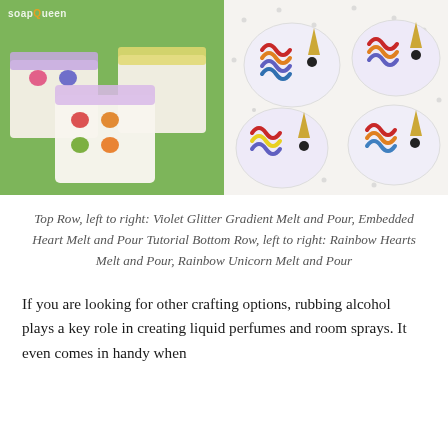[Figure (photo): Left photo: colorful soap bars with embedded hearts on green background (soap queen logo visible). Right photo: white unicorn-shaped cookies with rainbow frosting on white polka-dot background.]
Top Row, left to right: Violet Glitter Gradient Melt and Pour, Embedded Heart Melt and Pour Tutorial Bottom Row, left to right: Rainbow Hearts Melt and Pour, Rainbow Unicorn Melt and Pour
If you are looking for other crafting options, rubbing alcohol plays a key role in creating liquid perfumes and room sprays. It even comes in handy when